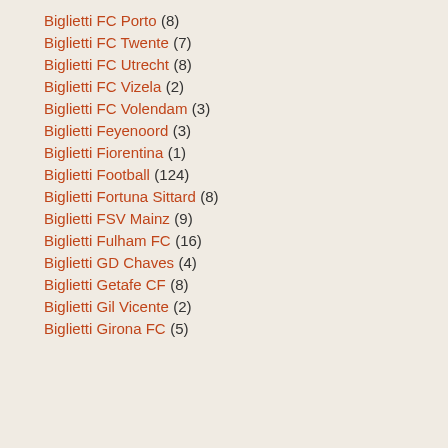Biglietti FC Porto (8)
Biglietti FC Twente (7)
Biglietti FC Utrecht (8)
Biglietti FC Vizela (2)
Biglietti FC Volendam (3)
Biglietti Feyenoord (3)
Biglietti Fiorentina (1)
Biglietti Football (124)
Biglietti Fortuna Sittard (8)
Biglietti FSV Mainz (9)
Biglietti Fulham FC (16)
Biglietti GD Chaves (4)
Biglietti Getafe CF (8)
Biglietti Gil Vicente (2)
Biglietti Girona FC (5)